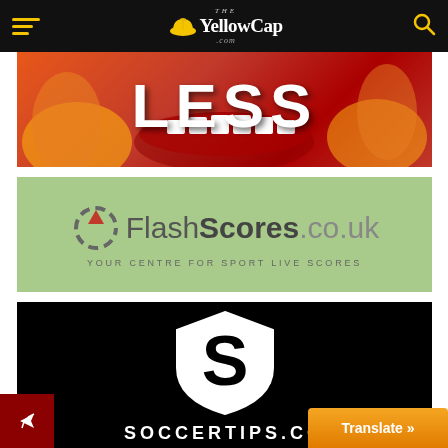The YellowCap.com
[Figure (illustration): Red/fire themed banner with text 'LESS' in white bold letters on a red and orange fiery background with open mouth]
[Figure (logo): FlashScores.co.uk logo on green background — circular dashed target icon with red triangle, bold text 'FlashScores.co.uk', tagline 'YOUR CENTRE FOR SPORT LIVE SCORES']
[Figure (logo): SoccerTips.com logo on black background — white shield with large S letter, text 'SOCCERTIPS.CO' at bottom]
Translate »